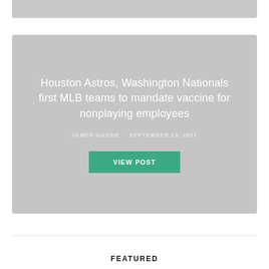[Figure (other): Gray banner bar at top of page]
Houston Astros, Washington Nationals first MLB teams to mandate vaccine for nonplaying employees
JAMES GUSSIE · SEPTEMBER 13, 2021
VIEW POST
FEATURED